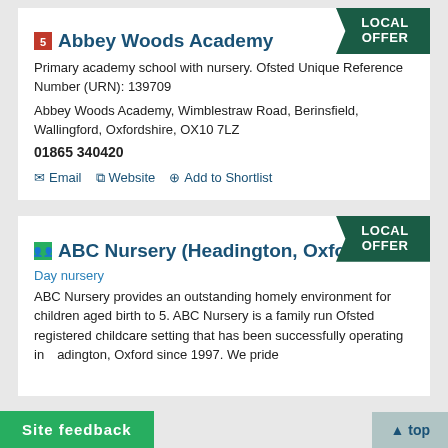[Figure (other): LOCAL OFFER arrow badge (dark green)]
Abbey Woods Academy
Primary academy school with nursery. Ofsted Unique Reference Number (URN): 139709
Abbey Woods Academy, Wimblestraw Road, Berinsfield, Wallingford, Oxfordshire, OX10 7LZ
01865 340420
Email   Website   Add to Shortlist
[Figure (other): LOCAL OFFER arrow badge (dark green)]
ABC Nursery (Headington, Oxford)
Day nursery
ABC Nursery provides an outstanding homely environment for children aged birth to 5. ABC Nursery is a family run Ofsted registered childcare setting that has been successfully operating in Headington, Oxford since 1997. We pride ourselves on being homely and very personal child-centred